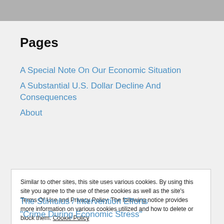Pages
A Special Note On Our Economic Situation
A Substantial U.S. Dollar Decline And Consequences
About
Similar to other sites, this site uses various cookies. By using this site you agree to the use of these cookies as well as the site's Terms Of Use and Privacy Policy. The following notice provides more information on various cookies utilized and how to delete or block them. Cookie Policy
The Stimulus / Intervention Efforts
“Crime During Economic Stress”